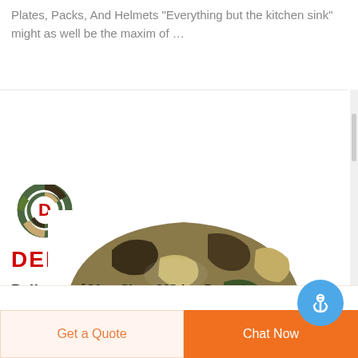Plates, Packs, And Helmets "Everything but the kitchen sink" might as well be the maxim of …
[Figure (photo): DEEKON logo (circular camo design with red D in center and red DEEKON text below) above a photo of a camouflage military helmet from above]
Bulletproof Vest Shop USA - Posts | Facebook
Get a Quote
Chat Now